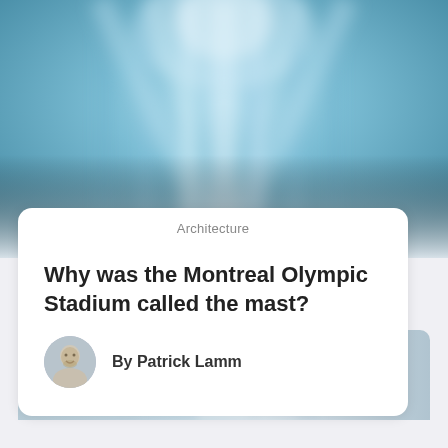[Figure (photo): Blurred blue architectural interior photo showing curved structural elements, used as hero image at top of card.]
Architecture
Why was the Montreal Olympic Stadium called the mast?
By Patrick Lamm
[Figure (photo): Blurred blue/grey architectural corridor photo partially visible at bottom of page.]